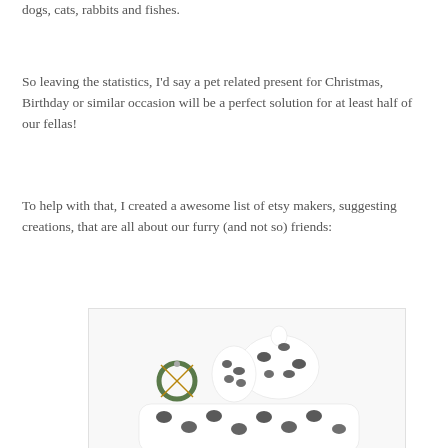dogs, cats, rabbits and fishes.
So leaving the statistics, I'd say a pet related present for Christmas, Birthday or similar occasion will be a perfect solution for at least half of our fellas!
To help with that, I created a awesome list of etsy makers, suggesting creations, that are all about our furry (and not so) friends:
[Figure (photo): Baby clothing set with black and white French Bulldog print including a hat and pants/onesie, displayed on a white background with a small decorative wreath.]